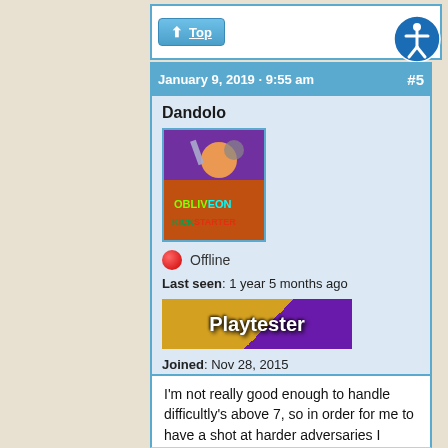↑ Top
January 9, 2019 · 9:55 am   #5
Dandolo
[Figure (illustration): Avatar image showing Obliveon Kickstarter artwork — a science fiction battle scene]
🔴 Offline
Last seen: 1 year 5 months ago
[Figure (illustration): Playtester badge banner with orange and purple background]
Joined: Nov 28, 2015
I'm not really good enough to handle difficultly's above 7, so in order for me to have a shot at harder adversaries I would need a really good matchup/Spirits Combo. With that